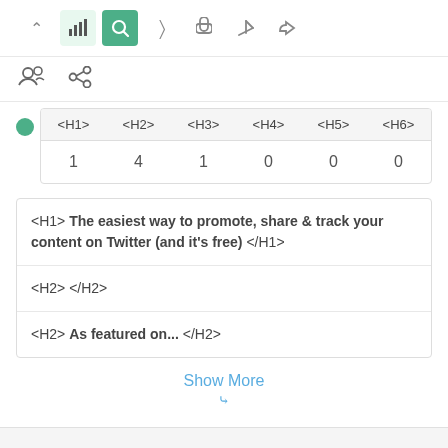[Figure (screenshot): Toolbar with icons: chevron up, bar chart (light green background), magnifier (green background), hand pointer, mobile phone, send/paper plane, thumbs up]
[Figure (screenshot): Second toolbar row with group/people icon and chain/link icon]
| <H1> | <H2> | <H3> | <H4> | <H5> | <H6> |
| --- | --- | --- | --- | --- | --- |
| 1 | 4 | 1 | 0 | 0 | 0 |
<H1> The easiest way to promote, share & track your content on Twitter (and it's free) </H1>
<H2> </H2>
<H2> As featured on... </H2>
Show More